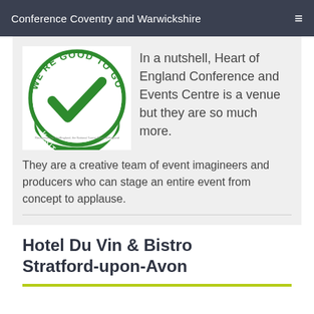Conference Coventry and Warwickshire
[Figure (logo): We're Good To Go - Visit England certification logo with green checkmark]
In a nutshell, Heart of England Conference and Events Centre is a venue but they are so much more. They are a creative team of event imagineers and producers who can stage an entire event from concept to applause.
Hotel Du Vin & Bistro Stratford-upon-Avon